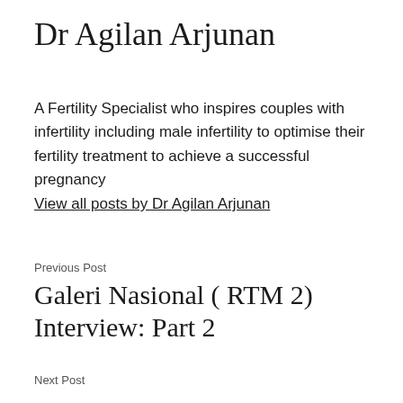Dr Agilan Arjunan
A Fertility Specialist who inspires couples with infertility including male infertility to optimise their fertility treatment to achieve a successful pregnancy
View all posts by Dr Agilan Arjunan
Previous Post
Galeri Nasional ( RTM 2) Interview: Part 2
Next Post